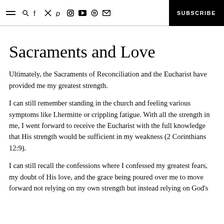≡ 🔍 f 𝕏 𝕡 ◎ ▶ ♫ ✉  SUBSCRIBE
Sacraments and Love
Ultimately, the Sacraments of Reconciliation and the Eucharist have provided me my greatest strength.
I can still remember standing in the church and feeling various symptoms like Lhermitte or crippling fatigue. With all the strength in me, I went forward to receive the Eucharist with the full knowledge that His strength would be sufficient in my weakness (2 Corinthians 12:9).
I can still recall the confessions where I confessed my greatest fears, my doubt of His love, and the grace being poured over me to move forward not relying on my own strength but instead relying on God's…